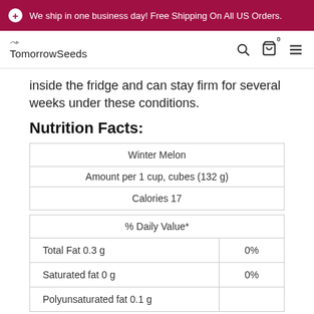We ship in one business day! Free Shipping On All US Orders.
TomorrowSeeds
inside the fridge and can stay firm for several weeks under these conditions.
Nutrition Facts:
| Winter Melon |
| Amount per 1 cup, cubes (132 g) |
| Calories 17 |
| % Daily Value* |
| --- |
| Total Fat 0.3 g | 0% |
| Saturated fat 0 g | 0% |
| Polyunsaturated fat 0.1 g |  |